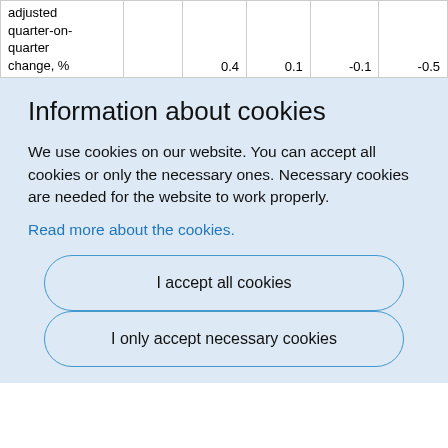|  |  |  |  |  |  |
| --- | --- | --- | --- | --- | --- |
| adjusted quarter-on-quarter change, % |  | 0.4 | 0.1 | -0.1 | -0.5 |
Information about cookies
We use cookies on our website. You can accept all cookies or only the necessary ones. Necessary cookies are needed for the website to work properly.
Read more about the cookies.
I accept all cookies
I only accept necessary cookies